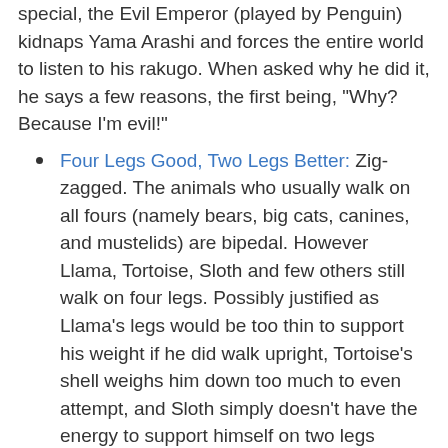special, the Evil Emperor (played by Penguin) kidnaps Yama Arashi and forces the entire world to listen to his rakugo. When asked why he did it, he says a few reasons, the first being, "Why? Because I'm evil!"
Four Legs Good, Two Legs Better: Zig-zagged. The animals who usually walk on all fours (namely bears, big cats, canines, and mustelids) are bipedal. However Llama, Tortoise, Sloth and few others still walk on four legs. Possibly justified as Llama's legs would be too thin to support his weight if he did walk upright, Tortoise's shell weighs him down too much to even attempt, and Sloth simply doesn't have the energy to support himself on two legs (although his Imagine Spot of himself walking to the hot springs does show him walking on two legs).
Gilligan Cut: Played with. Polar Bear seems to enjoy Tempting Fate in order to invoke sudden cuts to characters doing the opposite of what was said. Sometimes it works, as in the case of Rin-Rin tracking down Panda's home.